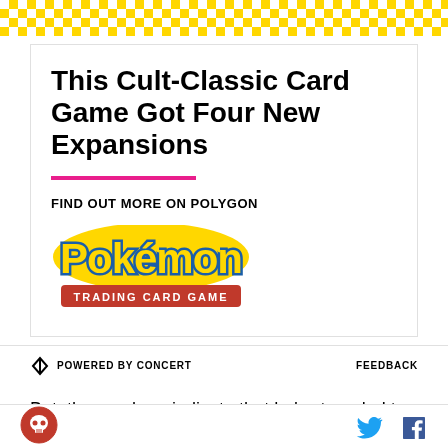[Figure (other): Yellow and white checkerboard pattern banner at top of page]
This Cult-Classic Card Game Got Four New Expansions
FIND OUT MORE ON POLYGON
[Figure (logo): Pokémon Trading Card Game logo — yellow Pokémon text with blue outline on white background, red banner below reading TRADING CARD GAME]
POWERED BY CONCERT   FEEDBACK
But, the numbers indicate that he's struggled to take
[Figure (logo): Circular red site logo icon at bottom left]
[Figure (other): Twitter bird icon and Facebook F icon in blue at bottom right]